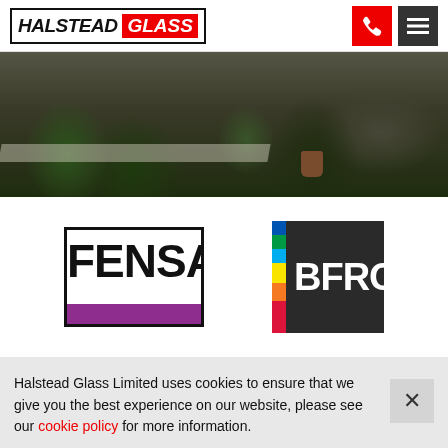HALSTEAD GLASS
[Figure (photo): Outdoor garden/yard photo with dark overlay showing plants, shrubs, path, and a terracotta pot]
[Figure (logo): FENSA logo — black bordered rectangle with bold FENSA text and purple bar at bottom]
[Figure (logo): BFRC logo — dark square with rainbow stripe on left and white bold BFRC text]
Halstead Glass Limited uses cookies to ensure that we give you the best experience on our website, please see our cookie policy for more information.